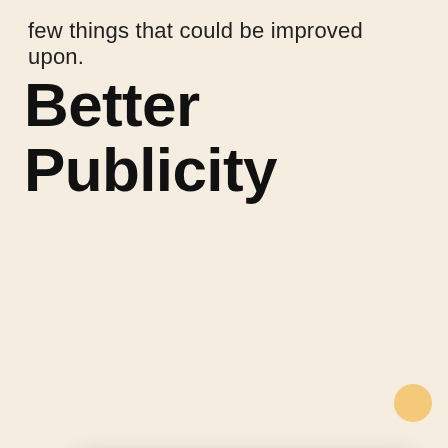few things that could be improved upon.
Better Publicity
[Figure (screenshot): Screenshot of a website with a green header bar and cookie consent modal overlay. The modal shows cookie notice text, a 'Read our Privacy Policy' link, and a 'Dismiss' button with a yellow/orange background.]
This site uses cookies to store information on your computer. Some are essential to make our site work; others help us improve the user experience. By using the site, you consent to the placement of these cookies.
Read our Privacy Policy
Dismiss